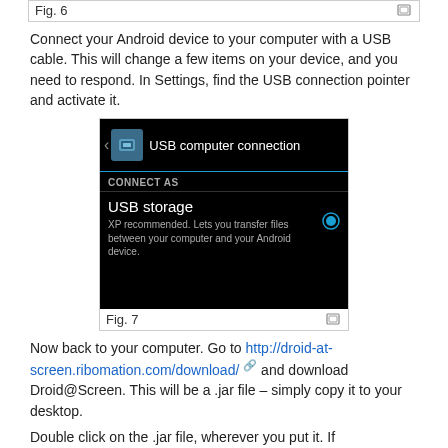Fig. 6
Connect your Android device to your computer with a USB cable. This will change a few items on your device, and you need to respond. In Settings, find the USB connection pointer and activate it.
[Figure (screenshot): Android USB computer connection screen showing 'CONNECT AS' options with 'USB storage' selected (blue radio button). Description reads: XP recommended. Lets you transfer files between your computer and your Android device.]
Fig. 7
Now back to your computer. Go to http://droid-at-screen.ribomation.com/download/ and download Droid@Screen. This will be a .jar file – simply copy it to your desktop.
Double click on the .jar file, wherever you put it. If Droid@Screen cannot find the ADB executable you created, it will prompt you for the path. Just navigate to the installation directory of the Android SDK and then into platform-tools. You should find the adb.exe file there.
That's the setup finished. You could create a desktop icon for the .jar file, so that you could connect your device then click the icon to get a screen view